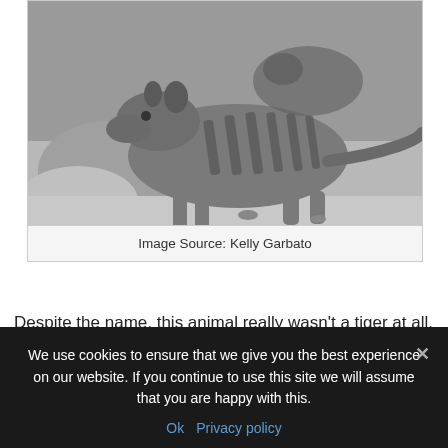[Figure (photo): Black and white photograph of a thylacine (Tasmanian tiger), a striped marsupial, standing in profile showing distinctive dark stripes across its back and long stiff tail]
Image Source: Kelly Garbato
Despite the name, this animal really wasn't a tiger at all. It was a marsupial that was really called a thylacine. It picked up the name “tiger” due to its stripes, and was also known as the
We use cookies to ensure that we give you the best experience on our website. If you continue to use this site we will assume that you are happy with this.
Ok  Privacy policy